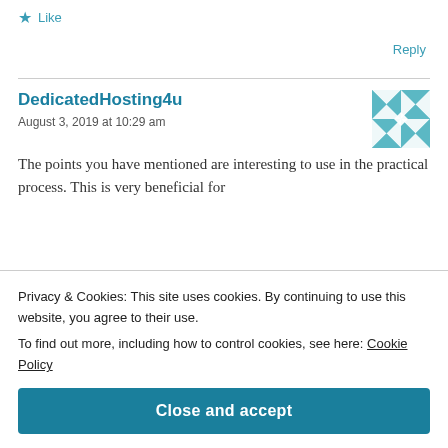Like
Reply
DedicatedHosting4u
August 3, 2019 at 10:29 am
[Figure (illustration): User avatar: teal geometric/quilt patterned square avatar for DedicatedHosting4u]
The points you have mentioned are interesting to use in the practical process. This is very beneficial for
Privacy & Cookies: This site uses cookies. By continuing to use this website, you agree to their use.
To find out more, including how to control cookies, see here: Cookie Policy
Close and accept